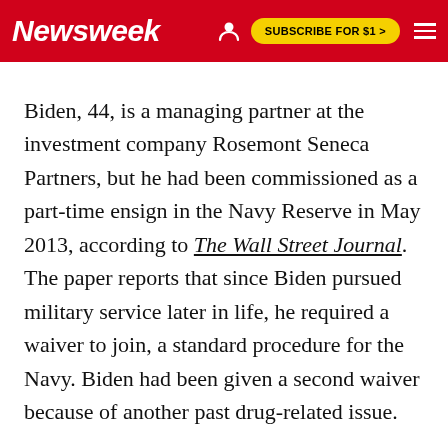Newsweek | SUBSCRIBE FOR $1 >
Biden, 44, is a managing partner at the investment company Rosemont Seneca Partners, but he had been commissioned as a part-time ensign in the Navy Reserve in May 2013, according to The Wall Street Journal. The paper reports that since Biden pursued military service later in life, he required a waiver to join, a standard procedure for the Navy. Biden had been given a second waiver because of another past drug-related issue.